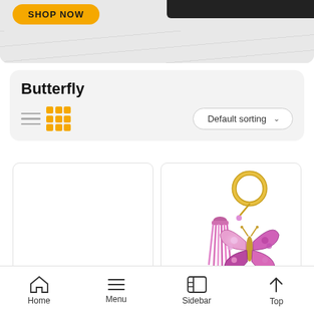[Figure (screenshot): Top banner with yellow SHOP NOW button on gray textured background]
Butterfly
Default sorting dropdown with list/grid view icons
[Figure (photo): Blank white product card (left)]
[Figure (photo): Butterfly keychain with pink tassel and rhinestone butterfly charm on gold ring (right product card)]
Home | Menu | Sidebar | Top navigation bar